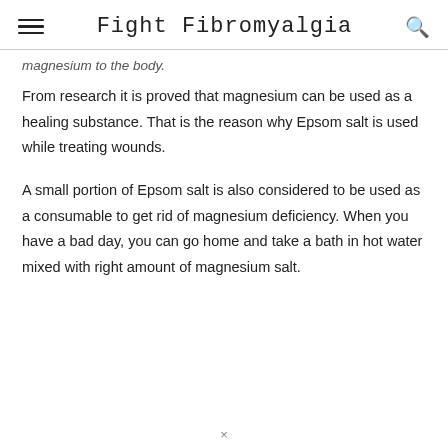Fight Fibromyalgia
magnesium to the body.
From research it is proved that magnesium can be used as a healing substance. That is the reason why Epsom salt is used while treating wounds.
A small portion of Epsom salt is also considered to be used as a consumable to get rid of magnesium deficiency. When you have a bad day, you can go home and take a bath in hot water mixed with right amount of magnesium salt.
×